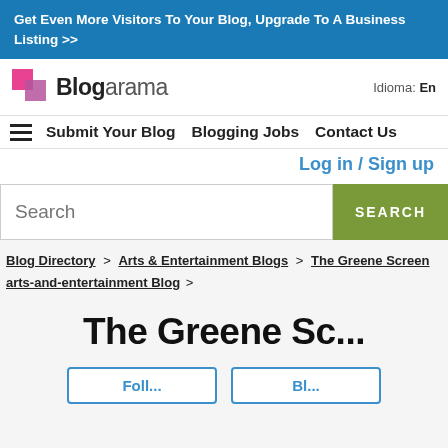Get Even More Visitors To Your Blog, Upgrade To A Business Listing >>
[Figure (logo): Blogarama logo with pink/purple squares and text 'Blogarama' plus Idioma: En]
Submit Your Blog   Blogging Jobs   Contact Us
Log in / Sign up
Search  SEARCH
Blog Directory > Arts & Entertainment Blogs > The Greene Screen arts-and-entertainment Blog >
The Greene Sc...